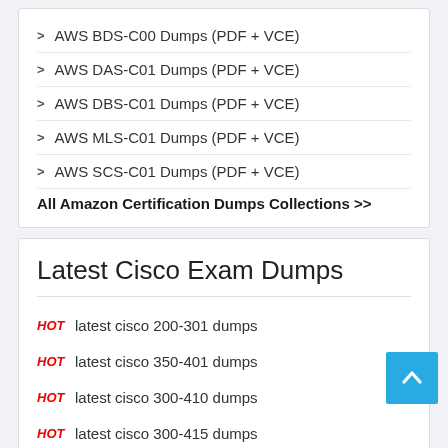AWS BDS-C00 Dumps (PDF + VCE)
AWS DAS-C01 Dumps (PDF + VCE)
AWS DBS-C01 Dumps (PDF + VCE)
AWS MLS-C01 Dumps (PDF + VCE)
AWS SCS-C01 Dumps (PDF + VCE)
All Amazon Certification Dumps Collections >>
Latest Cisco Exam Dumps
HOT latest cisco 200-301 dumps
HOT latest cisco 350-401 dumps
HOT latest cisco 300-410 dumps
HOT latest cisco 300-415 dumps
HOT latest cisco 300-420 dumps
HOT latest cisco 300-425 dumps
HOT latest cisco 300-430 dumps
HOT latest cisco 300-435 dumps